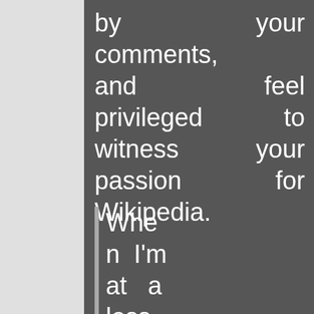by your comments, and feel privileged to witness your passion for Wikipedia.
When I'm at a loss for answers